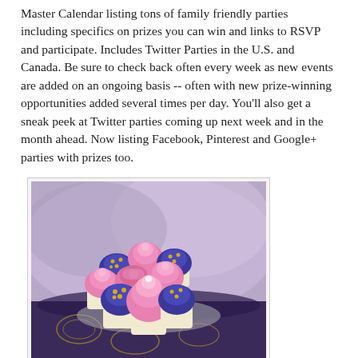Master Calendar listing tons of family friendly parties including specifics on prizes you can win and links to RSVP and participate. Includes Twitter Parties in the U.S. and Canada. Be sure to check back often every week as new events are added on an ongoing basis -- often with new prize-winning opportunities added several times per day. You'll also get a sneak peek at Twitter parties coming up next week and in the month ahead. Now listing Facebook, Pinterest and Google+ parties with prizes too.
[Figure (photo): Photo of decorated cupcakes with pink and purple/blue frosting on a plate, with a lavender fabric background. Watermark reads MOMMYBLOGEXPERT.COM]
Be the first to know when the latest Mommy Blog Expert Twitter P...